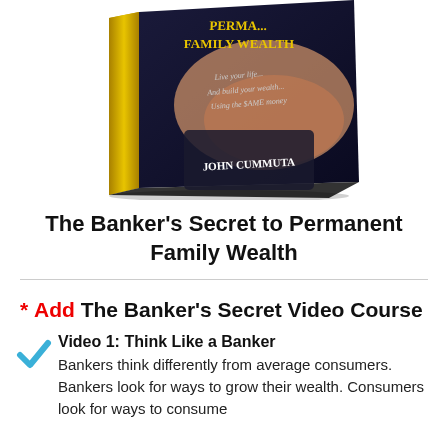[Figure (photo): Book cover image of 'The Banker's Secret to Permanent Family Wealth' by John Cummuta, showing a book with dark blue cover, gold and white text, and an image of a hand in a business suit.]
The Banker's Secret to Permanent Family Wealth
* Add The Banker's Secret Video Course
Video 1: Think Like a Banker — Bankers think differently from average consumers. Bankers look for ways to grow their wealth. Consumers look for ways to consume